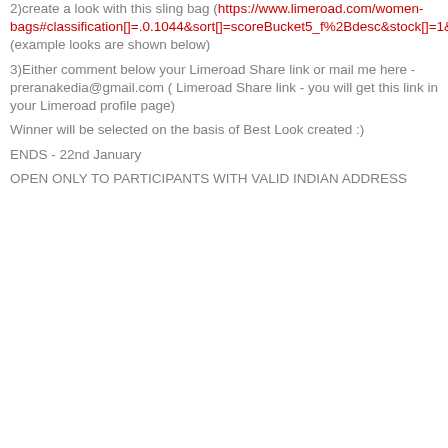2)create a look with this sling bag (https://www.limeroad.com/women-bags#classification[]=.0.1044&sort[]=scoreBucket5_f%2Bdesc&stock[]=1&pOverlay=38755) (example looks are shown below)
3)Either comment below your Limeroad Share link or mail me here - preranakedia@gmail.com ( Limeroad Share link - you will get this link in your Limeroad profile page)
Winner will be selected on the basis of Best Look created :)
ENDS - 22nd January
OPEN ONLY TO PARTICIPANTS WITH VALID INDIAN ADDRESS